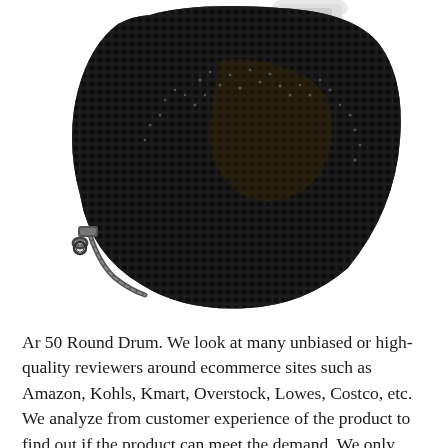[Figure (photo): A black mesh laundry bag with a zipper, photographed on a white background. The bag appears to be partially filled and has a fine hexagonal mesh texture with a silver zipper pull at the bottom left.]
Ar 50 Round Drum. We look at many unbiased or high-quality reviewers around ecommerce sites such as Amazon, Kohls, Kmart, Overstock, Lowes, Costco, etc. We analyze from customer experience of the product to find out if the product can meet the demand. We only...